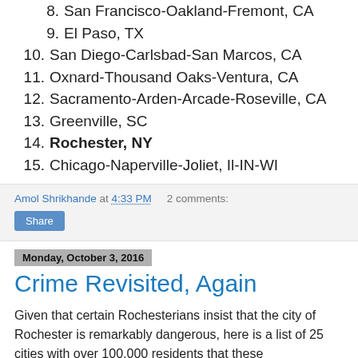8. San Francisco-Oakland-Fremont, CA
9. El Paso, TX
10. San Diego-Carlsbad-San Marcos, CA
11. Oxnard-Thousand Oaks-Ventura, CA
12. Sacramento-Arden-Arcade-Roseville, CA
13. Greenville, SC
14. Rochester, NY
15. Chicago-Naperville-Joliet, Il-IN-WI
Amol Shrikhande at 4:33 PM   2 comments:
Share
Monday, October 3, 2016
Crime Revisited, Again
Given that certain Rochesterians insist that the city of Rochester is remarkably dangerous, here is a list of 25 cities with over 100,000 residents that these Rochesterians should